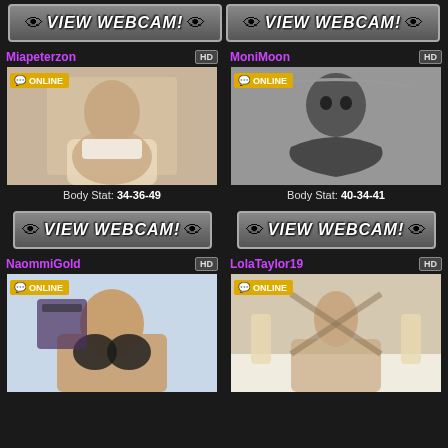[Figure (screenshot): VIEW WEBCAM! banner button top row]
Miapeterzon
ONLINE
[Figure (photo): Miapeterzon profile photo]
Body Stat: 34-36-49
[Figure (screenshot): VIEW WEBCAM! button under Miapeterzon]
MoniMoon
ONLINE
[Figure (photo): MoniMoon profile photo black and white]
Body Stat: 40-34-41
[Figure (screenshot): VIEW WEBCAM! button under MoniMoon]
NaommiGold
ONLINE
[Figure (photo): NaommiGold profile photo]
LolaTaylor19
ONLINE
[Figure (photo): LolaTaylor19 profile photo]